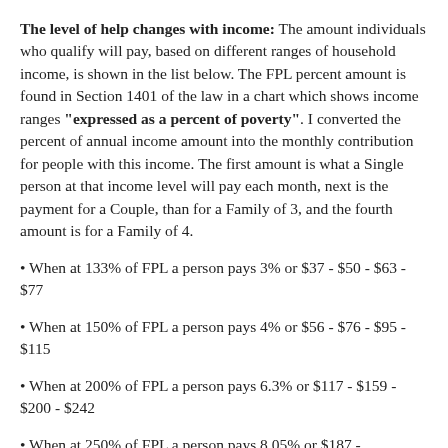The level of help changes with income: The amount individuals who qualify will pay, based on different ranges of household income, is shown in the list below. The FPL percent amount is found in Section 1401 of the law in a chart which shows income ranges "expressed as a percent of poverty". I converted the percent of annual income amount into the monthly contribution for people with this income. The first amount is what a Single person at that income level will pay each month, next is the payment for a Couple, than for a Family of 3, and the fourth amount is for a Family of 4.
When at 133% of FPL a person pays 3% or $37 - $50 - $63 - $77
When at 150% of FPL a person pays 4% or $56 - $76 - $95 - $115
When at 200% of FPL a person pays 6.3% or $117 - $159 - $200 - $242
When at 250% of FPL a person pays 8.05% or $187 -